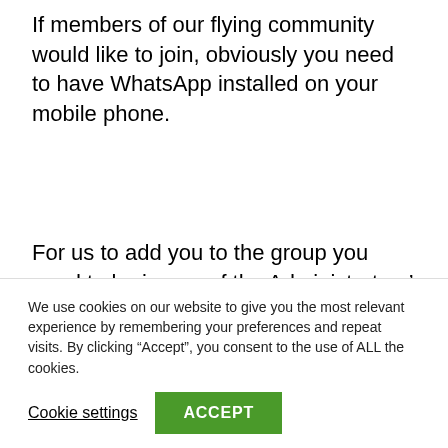If members of our flying community would like to join, obviously you need to have WhatsApp installed on your mobile phone.
For us to add you to the group you need to be in one of the Administrators’ contact lists, so please text “MGC Group request” plus your first and last name (and membership number if known …don’t worry if you don’t know it just say so!) to Rob Shepherd on 07709352826 or to Sarah Platt
We use cookies on our website to give you the most relevant experience by remembering your preferences and repeat visits. By clicking “Accept”, you consent to the use of ALL the cookies.
Cookie settings
ACCEPT